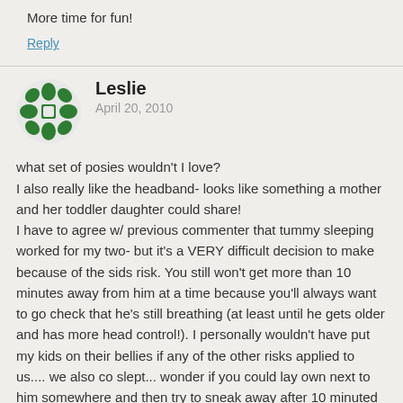More time for fun!
Reply
[Figure (illustration): Green decorative avatar icon with symmetrical cross/snowflake pattern for user Leslie]
Leslie
April 20, 2010
what set of posies wouldn't I love? I also really like the headband- looks like something a mother and her toddler daughter could share! I have to agree w/ previous commenter that tummy sleeping worked for my two- but it's a VERY difficult decision to make because of the sids risk. You still won't get more than 10 minutes away from him at a time because you'll always want to go check that he's still breathing (at least until he gets older and has more head control!). I personally wouldn't have put my kids on their bellies if any of the other risks applied to us.... we also co slept... wonder if you could lay own next to him somewhere and then try to sneak away after 10 minuted when he's in a deeper sleep?
Reply